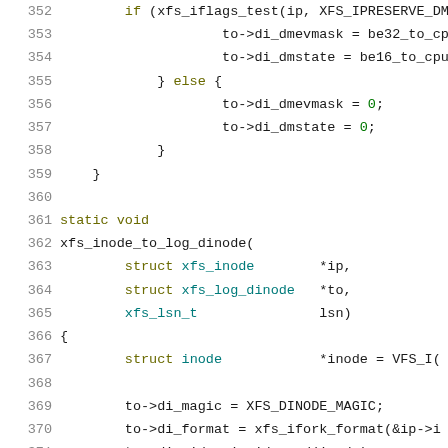Source code listing lines 352-373, C language, xfs_inode_to_log_dinode function
352: if (xfs_iflags_test(ip, XFS_IPRESERVE_DM...
353:     to->di_dmevmask = be32_to_cpu(d...
354:     to->di_dmstate = be16_to_cpu(di...
355:     } else {
356:         to->di_dmevmask = 0;
357:         to->di_dmstate = 0;
358:     }
359: }
360: (blank)
361: static void
362: xfs_inode_to_log_dinode(
363:     struct xfs_inode    *ip,
364:     struct xfs_log_dinode   *to,
365:     xfs_lsn_t               lsn)
366: {
367:     struct inode            *inode = VFS_I(
368: (blank)
369:     to->di_magic = XFS_DINODE_MAGIC;
370:     to->di_format = xfs_ifork_format(&ip->i...
371:     to->di_uid = i_uid_read(inode);
372:     to->di_gid = i_gid_read(inode);
373:     to->di_projid_lo = ip->i_projid & 0xffff...